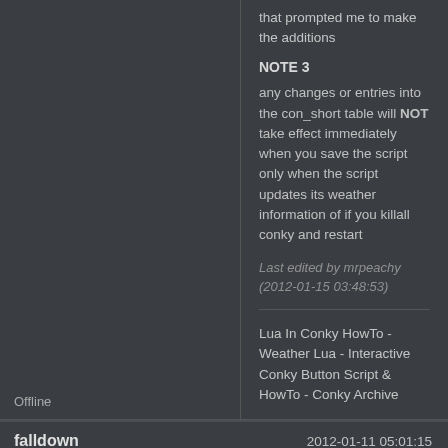that prompted me to make the additions
NOTE 3
any changes or entries into the con_short table will NOT take effect immediately when you save the script
only when the script updates its weather information of if you killall conky and restart
Last edited by mrpeachy (2012-01-15 03:48:53)
Lua In Conky HowTo - Weather Lua - Interactive Conky Button Script & HowTo - Conky Archive
Offline
falldown
2012-01-11 05:01:15
[Figure (illustration): Dark wolf/creature avatar icon in dark gray tones]
Made a few mods, but nothing major.

Thanks for the script MrPeachy!!
[Figure (screenshot): Two small thumbnail images at the bottom of the post]